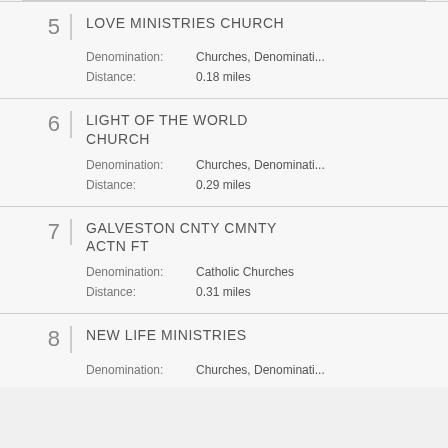5 LOVE MINISTRIES CHURCH Denomination: Churches, Denominati... Distance: 0.18 miles
6 LIGHT OF THE WORLD CHURCH Denomination: Churches, Denominati... Distance: 0.29 miles
7 GALVESTON CNTY CMNTY ACTN FT Denomination: Catholic Churches Distance: 0.31 miles
8 NEW LIFE MINISTRIES Denomination: Churches, Denominati...